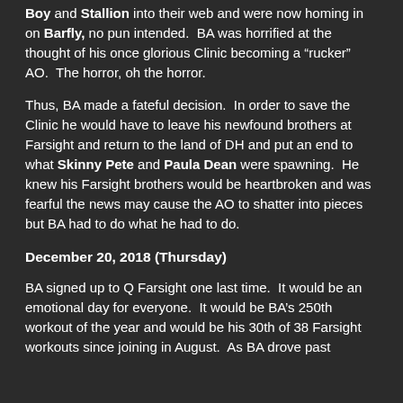Boy and Stallion into their web and were now homing in on Barfly, no pun intended.  BA was horrified at the thought of his once glorious Clinic becoming a "rucker" AO.  The horror, oh the horror.
Thus, BA made a fateful decision.  In order to save the Clinic he would have to leave his newfound brothers at Farsight and return to the land of DH and put an end to what Skinny Pete and Paula Dean were spawning.  He knew his Farsight brothers would be heartbroken and was fearful the news may cause the AO to shatter into pieces but BA had to do what he had to do.
December 20, 2018 (Thursday)
BA signed up to Q Farsight one last time.  It would be an emotional day for everyone.  It would be BA's 250th workout of the year and would be his 30th of 38 Farsight workouts since joining in August.  As BA drove past